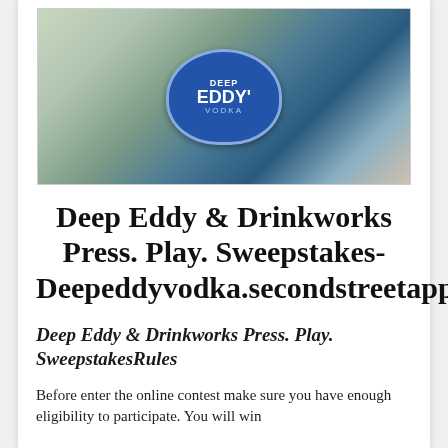[Figure (photo): Photo of Deep Eddy Vodka bottle label with colorful candy/drink pouches in the background on a wooden surface]
Deep Eddy & Drinkworks Press. Play. Sweepstakes- Deepeddyvodka.secondstreetapp.com
Deep Eddy & Drinkworks Press. Play. SweepstakesRules
Before enter the online contest make sure you have enough eligibility to participate. You will win